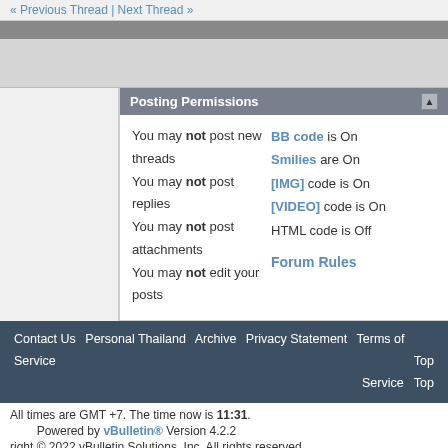« Previous Thread | Next Thread »
Posting Permissions
You may not post new threads
You may not post replies
You may not post attachments
You may not edit your posts
BB code is On
Smilies are On
[IMG] code is On
[VIDEO] code is On
HTML code is Off
Forum Rules
Contact Us  Personal Thailand  Archive  Privacy Statement  Terms of Service  Top
All times are GMT +7. The time now is 11:31.
Powered by vBulletin® Version 4.2.2
right © 2022 vBulletin Solutions, Inc. All rights reserved.
Copyright Personalthailand.com